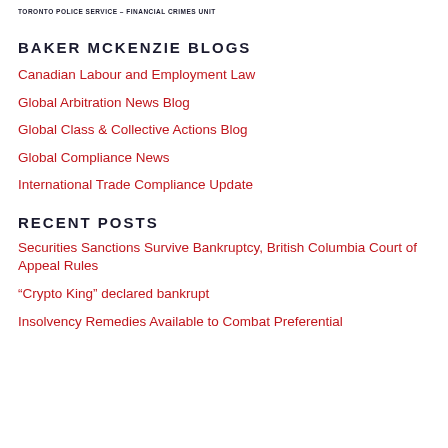TORONTO POLICE SERVICE – FINANCIAL CRIMES UNIT
BAKER MCKENZIE BLOGS
Canadian Labour and Employment Law
Global Arbitration News Blog
Global Class & Collective Actions Blog
Global Compliance News
International Trade Compliance Update
RECENT POSTS
Securities Sanctions Survive Bankruptcy, British Columbia Court of Appeal Rules
“Crypto King” declared bankrupt
Insolvency Remedies Available to Combat Preferential